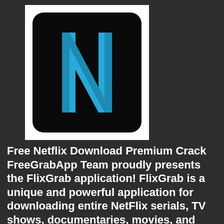[Figure (logo): Netflix-style logo: black rounded square with a large blue letter N on a white background container]
Free Netflix Download Premium Crack FreeGrabApp Team proudly presents the FlixGrab application! FlixGrab is a unique and powerful application for downloading entire NetFlix serials, TV shows, documentaries, movies, and music using the fastest multistream FreeGrabApp application engine.